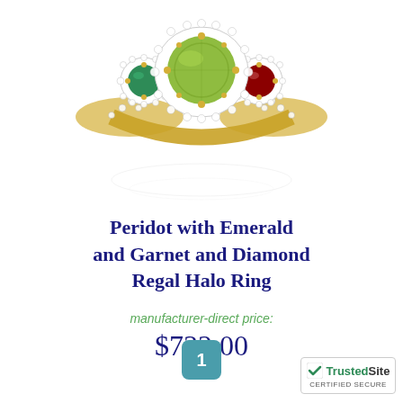[Figure (photo): A gold ring featuring a large oval peridot center stone surrounded by a diamond halo, with emerald and garnet side stones, also surrounded by diamond halos, set on a gold band with additional diamonds.]
Peridot with Emerald and Garnet and Diamond Regal Halo Ring
manufacturer-direct price:
$732.00
1
[Figure (logo): TrustedSite CERTIFIED SECURE badge]